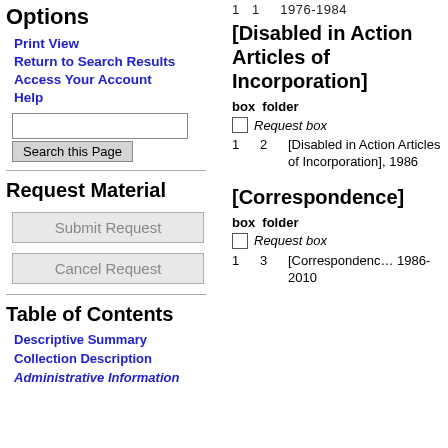Options
Print View
Return to Search Results
Access Your Account
Help
[Search input box and Search this Page button]
Request Material
Submit Request
Cancel Request
Table of Contents
Descriptive Summary
Collection Description
Administrative Information
1   1   1976-1984
[Disabled in Action Articles of Incorporation]
box  folder
Request box
1  2  [Disabled in Action Articles of Incorporation], 1986
[Correspondence]
box  folder
Request box
1  3  [Correspondence] 1986-2010